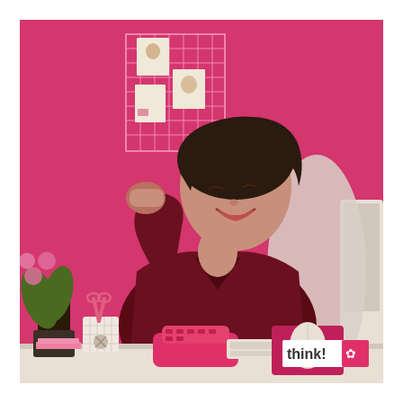[Figure (photo): A woman with dark hair in a dark red blouse sits at a white desk in a pink office. She is laughing and gesturing with her fist. On the desk are a pink telephone, a computer mouse on a pink mousepad, a keyboard, a pen holder with scissors, and a 'think!' branded item in the corner. A potted orchid plant is on the left. Behind her on the pink wall is a white wire grid board with papers pinned to it. A white computer monitor is visible on the right edge.]